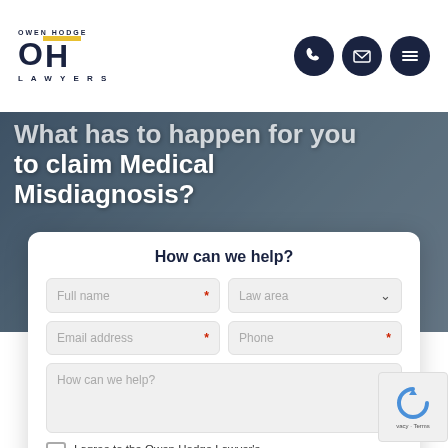Owen Hodge Lawyers — logo and navigation icons
What has to happen for you to claim Medical Misdiagnosis?
How can we help?
Full name (required field)
Law area (dropdown, required field)
Email address (required field)
Phone (required field)
How can we help? (required field, textarea)
I agree to the Owen Hodge Lawyer's privacy policy. (required)